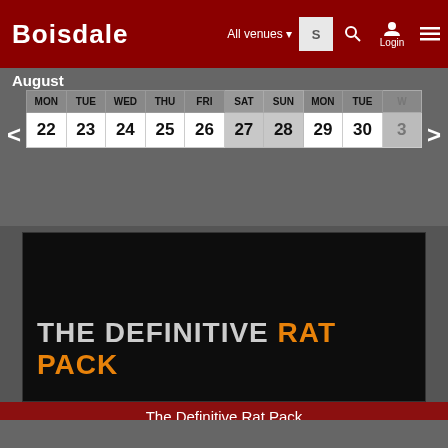BOISDALE — All venues — Login
August
| MON | TUE | WED | THU | FRI | SAT | SUN | MON | TUE | WED |
| --- | --- | --- | --- | --- | --- | --- | --- | --- | --- |
| 22 | 23 | 24 | 25 | 26 | 27 | 28 | 29 | 30 | 31 |
[Figure (illustration): Black background event banner with text 'THE DEFINITIVE RAT PACK' in large bold white and orange uppercase letters]
The Definitive Rat Pack
'Fly Me To The Moon', 'New York New York', 'One for my Baby', 'Lady is a Tramp', 'That's Amore'
INFO * VIDEO * BUY TICKETS
Thu 08 Sep 21:30
Boisdale of Belgravia